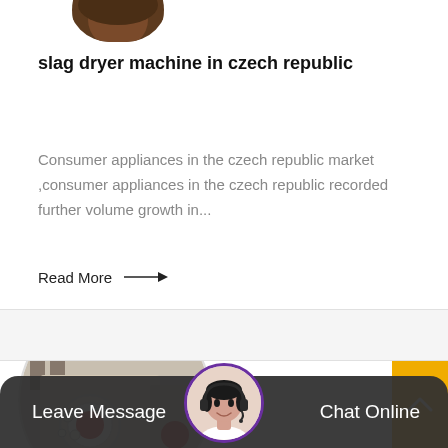[Figure (photo): Partial circular avatar image at top, showing dark brown wood grain material]
slag dryer machine in czech republic
Consumer appliances in the czech republic market ,consumer appliances in the czech republic recorded further volume growth in...
Read More →
[Figure (photo): Industrial machine (jaw crusher or similar) in a factory setting, shown in circular crop]
[Figure (photo): Customer service woman with headset, circular avatar in chat bar]
Leave Message
Chat Online